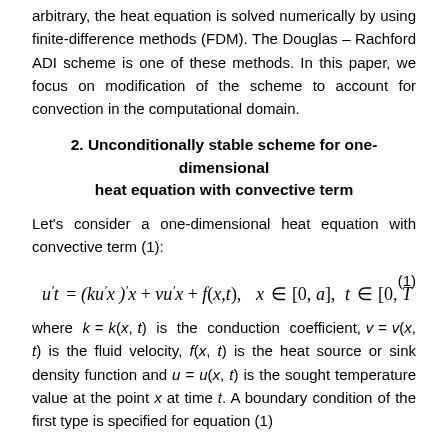arbitrary, the heat equation is solved numerically by using finite-difference methods (FDM). The Douglas – Rachford ADI scheme is one of these methods. In this paper, we focus on modification of the scheme to account for convection in the computational domain.
2. Unconditionally stable scheme for one-dimensional heat equation with convective term
Let's consider a one-dimensional heat equation with convective term (1):
where k = k(x,t) is the conduction coefficient, v = v(x,t) is the fluid velocity, f(x,t) is the heat source or sink density function and u = u(x,t) is the sought temperature value at the point x at time t. A boundary condition of the first type is specified for equation (1)